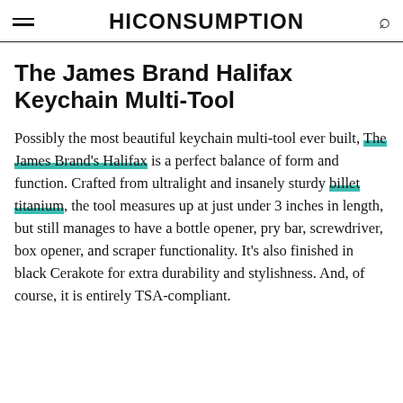HICONSUMPTION
The James Brand Halifax Keychain Multi-Tool
Possibly the most beautiful keychain multi-tool ever built, The James Brand's Halifax is a perfect balance of form and function. Crafted from ultralight and insanely sturdy billet titanium, the tool measures up at just under 3 inches in length, but still manages to have a bottle opener, pry bar, screwdriver, box opener, and scraper functionality. It's also finished in black Cerakote for extra durability and stylishness. And, of course, it is entirely TSA-compliant.